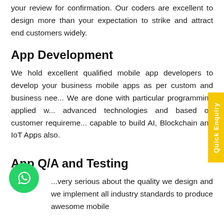your review for confirmation. Our coders are excellent to design more than your expectation to strike and attract end customers widely.
App Development
We hold excellent qualified mobile app developers to develop your business mobile apps as per custom and business needs. We are done with particular programming applied with advanced technologies and based on customer requirements capable to build AI, Blockchain and IoT Apps also.
App Q/A and Testing
...very serious about the quality we design and we implement all industry standards to produce awesome mobile